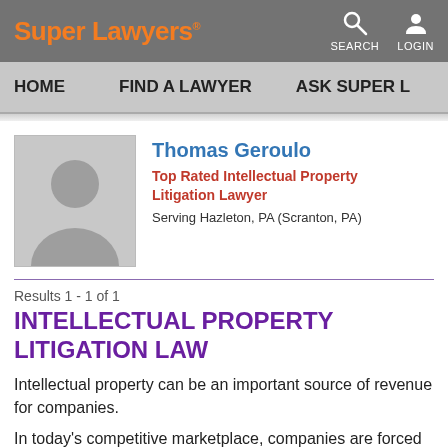Super Lawyers
HOME  FIND A LAWYER  ASK SUPER L
[Figure (photo): Placeholder silhouette photo of Thomas Geroulo]
Thomas Geroulo
Top Rated Intellectual Property Litigation Lawyer
Serving Hazleton, PA (Scranton, PA)
Results 1 - 1 of 1
INTELLECTUAL PROPERTY LITIGATION LAW
Intellectual property can be an important source of revenue for companies.
In today's competitive marketplace, companies are forced to